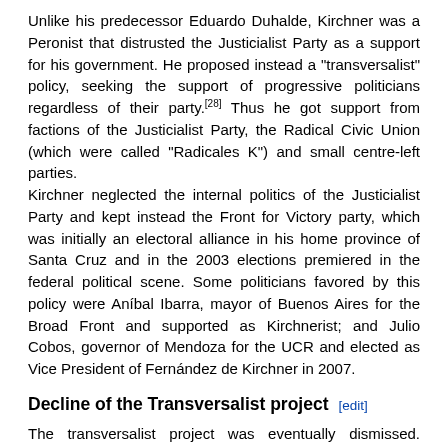Unlike his predecessor Eduardo Duhalde, Kirchner was a Peronist that distrusted the Justicialist Party as a support for his government. He proposed instead a "transversalist" policy, seeking the support of progressive politicians regardless of their party.[28] Thus he got support from factions of the Justicialist Party, the Radical Civic Union (which were called "Radicales K") and small centre-left parties. Kirchner neglected the internal politics of the Justicialist Party and kept instead the Front for Victory party, which was initially an electoral alliance in his home province of Santa Cruz and in the 2003 elections premiered in the federal political scene. Some politicians favored by this policy were Aníbal Ibarra, mayor of Buenos Aires for the Broad Front and supported as Kirchnerist; and Julio Cobos, governor of Mendoza for the UCR and elected as Vice President of Fernández de Kirchner in 2007.
Decline of the Transversalist project
The transversalist project was eventually dismissed. Kirchner took control of the Justicialist Party and some "Radicales K", slowly returned to the "anti-K" faction of